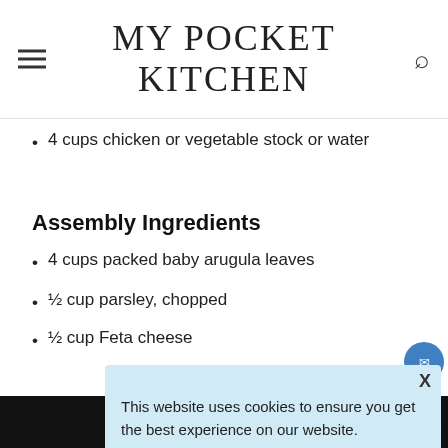MY POCKET KITCHEN
4 cups chicken or vegetable stock or water
Assembly Ingredients
4 cups packed baby arugula leaves
½ cup parsley, chopped
½ cup Feta cheese
This website uses cookies to ensure you get the best experience on our website. Learn more Got it